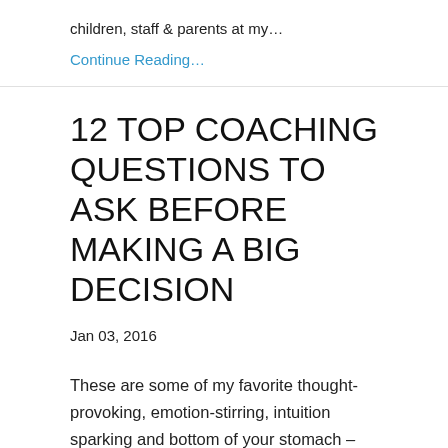children, staff & parents at my…
Continue Reading…
12 TOP COACHING QUESTIONS TO ASK BEFORE MAKING A BIG DECISION
Jan 03, 2016
These are some of my favorite thought-provoking, emotion-stirring, intuition sparking and bottom of your stomach – gut-wrenching questions I ask clients when they come to me with big decisions to make.